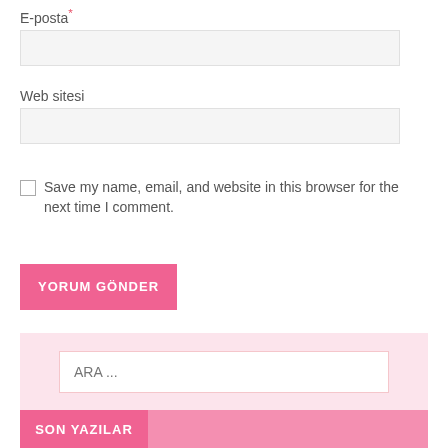E-posta*
Web sitesi
Save my name, email, and website in this browser for the next time I comment.
YORUM GÖNDER
ARA ...
SON YAZILAR
Öğretmenim